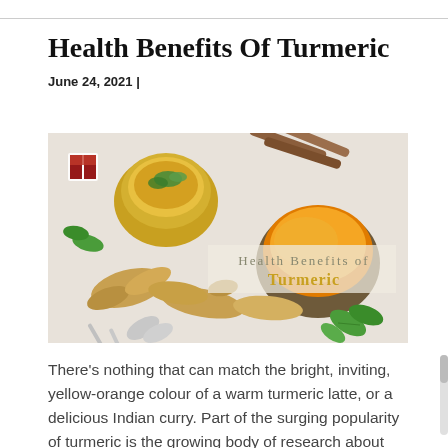Health Benefits Of Turmeric
June 24, 2021 |
[Figure (photo): Overhead photo of turmeric roots, turmeric powder in a bowl, a golden turmeric latte garnished with mint leaves, cinnamon sticks, spoons, and green mint leaves on a light background. Overlay text reads 'Health Benefits of Turmeric'.]
There's nothing that can match the bright, inviting, yellow-orange colour of a warm turmeric latte, or a delicious Indian curry.  Part of the surging popularity of turmeric is the growing body of research about...